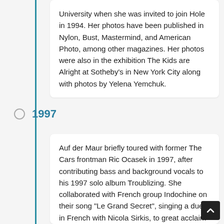University when she was invited to join Hole in 1994. Her photos have been published in Nylon, Bust, Mastermind, and American Photo, among other magazines. Her photos were also in the exhibition The Kids are Alright at Sotheby's in New York City along with photos by Yelena Yemchuk.
1997
Auf der Maur briefly toured with former The Cars frontman Ric Ocasek in 1997, after contributing bass and background vocals to his 1997 solo album Troublizing. She collaborated with French group Indochine on their song "Le Grand Secret", singing a duet in French with Nicola Sirkis, to great acclaim in France. Auf der Maur joined the band on stage to perform the song on various occasions and appeared in the music video for the song. She performed a rare, short, acoustic set of some of her solo songs during an Indochine show i Paris, February 22, 2002. Auf der Maur...